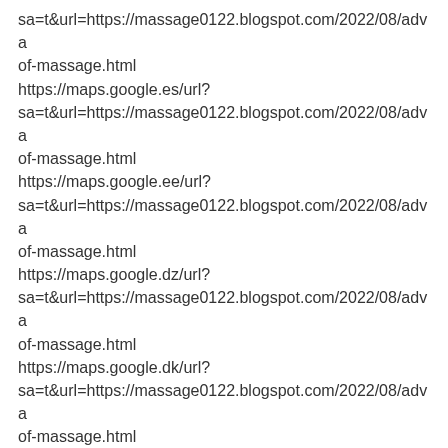sa=t&url=https://massage0122.blogspot.com/2022/08/adva of-massage.html
https://maps.google.es/url? sa=t&url=https://massage0122.blogspot.com/2022/08/adva of-massage.html
https://maps.google.ee/url? sa=t&url=https://massage0122.blogspot.com/2022/08/adva of-massage.html
https://maps.google.dz/url? sa=t&url=https://massage0122.blogspot.com/2022/08/adva of-massage.html
https://maps.google.dk/url? sa=t&url=https://massage0122.blogspot.com/2022/08/adva of-massage.html
https://maps.google.dj/url? sa=t&url=https://massage0122.blogspot.com/2022/08/adva of-massage.html